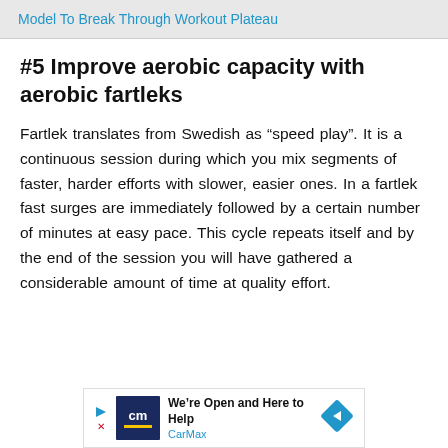Model To Break Through Workout Plateau
#5 Improve aerobic capacity with aerobic fartleks
Fartlek translates from Swedish as “speed play”. It is a continuous session during which you mix segments of faster, harder efforts with slower, easier ones. In a fartlek fast surges are immediately followed by a certain number of minutes at easy pace. This cycle repeats itself and by the end of the session you will have gathered a considerable amount of time at quality effort.
[Figure (other): CarMax advertisement banner with logo and text: We're Open and Here to Help, CarMax]